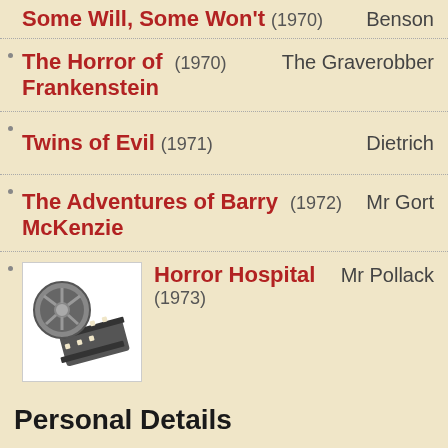Some Will, Some Won't (1970) — Benson
The Horror of Frankenstein (1970) — The Graverobber
Twins of Evil (1971) — Dietrich
The Adventures of Barry McKenzie (1972) — Mr Gort
Horror Hospital (1973) — Mr Pollack
Personal Details